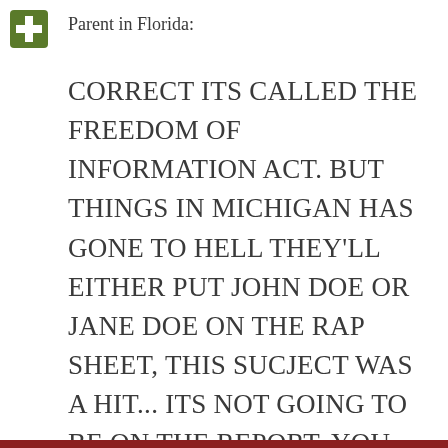[Figure (logo): Small green plus/cross icon in top left corner]
Parent in Florida:
CORRECT ITS CALLED THE FREEDOM OF INFORMATION ACT. BUT THINGS IN MICHIGAN HAS GONE TO HELL THEY’LL EITHER PUT JOHN DOE OR JANE DOE ON THE RAP SHEET, THIS SUCJECT WAS A HIT... ITS NOT GOING TO BE ON THE REPORT. YOU KNOW HOW MANY ARE